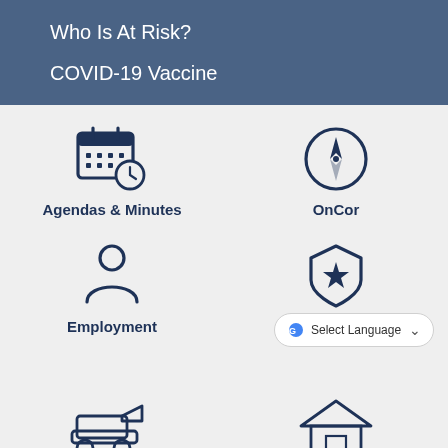Who Is At Risk?
COVID-19 Vaccine
[Figure (illustration): Calendar with clock icon representing Agendas & Minutes]
Agendas & Minutes
[Figure (illustration): Compass/navigation icon representing OnCor]
OnCor
[Figure (illustration): Person/user silhouette icon representing Employment]
Employment
[Figure (illustration): Sheriff badge/shield with star icon representing Sheriff's Office]
Sheriff's Office
Select Language
[Figure (illustration): Partial icon of construction/bulldozer at bottom left]
[Figure (illustration): Partial icon of house/building at bottom right]